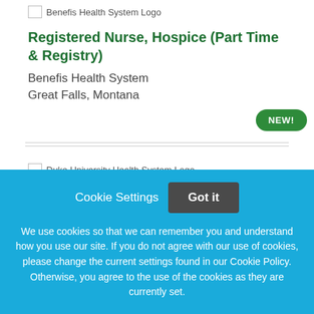[Figure (logo): Benefis Health System Logo placeholder image]
Registered Nurse, Hospice (Part Time & Registry)
Benefis Health System
Great Falls, Montana
[Figure (other): NEW! badge - green rounded pill badge]
[Figure (logo): Duke University Health System Logo placeholder image]
Cookie Settings  Got it
We use cookies so that we can remember you and understand how you use our site. If you do not agree with our use of cookies, please change the current settings found in our Cookie Policy. Otherwise, you agree to the use of the cookies as they are currently set.